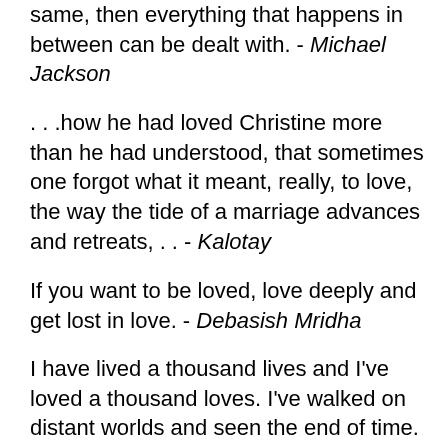same, then everything that happens in between can be dealt with. - Michael Jackson
. . .how he had loved Christine more than he had understood, that sometimes one forgot what it meant, really, to love, the way the tide of a marriage advances and retreats, . . - Kalotay
If you want to be loved, love deeply and get lost in love. - Debasish Mridha
I have lived a thousand lives and I've loved a thousand loves. I've walked on distant worlds and seen the end of time. Because I read. - George R. R. Martin